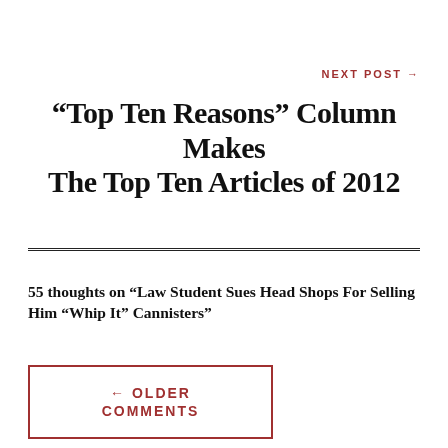NEXT POST →
“Top Ten Reasons” Column Makes The Top Ten Articles of 2012
55 thoughts on “Law Student Sues Head Shops For Selling Him “Whip It” Cannisters”
← OLDER COMMENTS